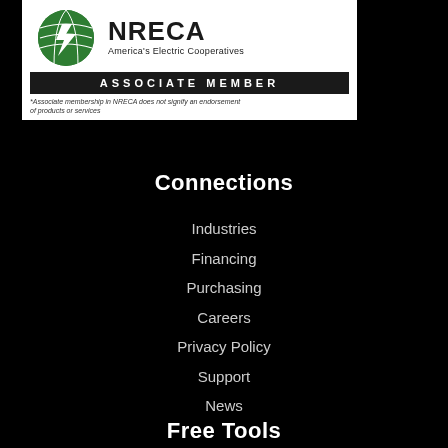[Figure (logo): NRECA America's Electric Cooperatives Associate Member logo with green globe icon and disclaimer text]
Connections
Industries
Financing
Purchasing
Careers
Privacy Policy
Support
News
Free Tools